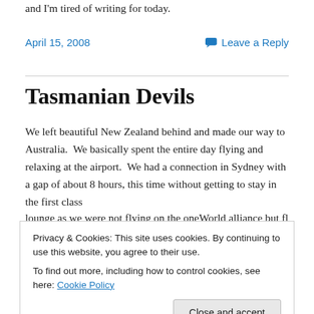and I'm tired of writing for today.
April 15, 2008
Leave a Reply
Tasmanian Devils
We left beautiful New Zealand behind and made our way to Australia.  We basically spent the entire day flying and relaxing at the airport.  We had a connection in Sydney with a gap of about 8 hours, this time without getting to stay in the first class lounge as we were not flying on the oneWorld alliance but flying
Privacy & Cookies: This site uses cookies. By continuing to use this website, you agree to their use.
To find out more, including how to control cookies, see here: Cookie Policy
Close and accept